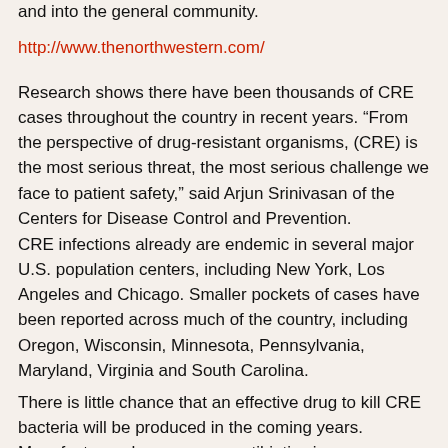and into the general community.
http://www.thenorthwestern.com/
Research shows there have been thousands of CRE cases throughout the country in recent years. “From the perspective of drug-resistant organisms, (CRE) is the most serious threat, the most serious challenge we face to patient safety,” said Arjun Srinivasan of the Centers for Disease Control and Prevention.
CRE infections already are endemic in several major U.S. population centers, including New York, Los Angeles and Chicago. Smaller pockets of cases have been reported across much of the country, including Oregon, Wisconsin, Minnesota, Pennsylvania, Maryland, Virginia and South Carolina.
There is little chance that an effective drug to kill CRE bacteria will be produced in the coming years. Manufacturers have no new antibiotics in